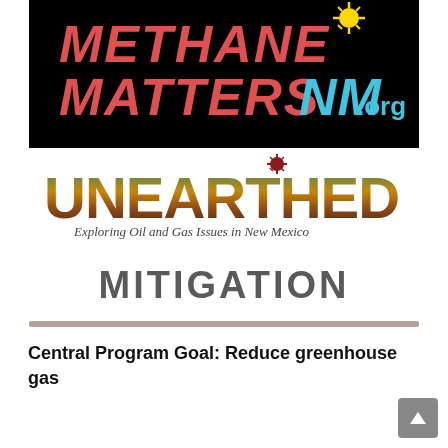[Figure (logo): MethaneMattersnm.org logo on black background with red and blue text and New Mexico zia symbol]
[Figure (logo): UNEARTHED logo with cracked earth texture and subtitle 'Exploring Oil and Gas Issues in New Mexico']
MITIGATION
Central Program Goal: Reduce greenhouse gas